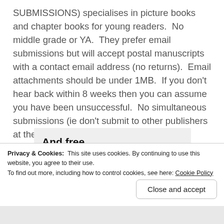SUBMISSIONS) specialises in picture books and chapter books for young readers.  No middle grade or YA.  They prefer email submissions but will accept postal manuscripts with a contact email address (no returns).  Email attachments should be under 1MB.  If you don't hear back within 8 weeks then you can assume you have been unsuccessful.  No simultaneous submissions (ie don't submit to other publishers at the same time).
[Figure (screenshot): A light grey ad box showing bold text 'And free.' with four circular avatar images below (three showing faces, one blue with a plus symbol)]
Privacy & Cookies: This site uses cookies. By continuing to use this website, you agree to their use.
To find out more, including how to control cookies, see here: Cookie Policy
Close and accept